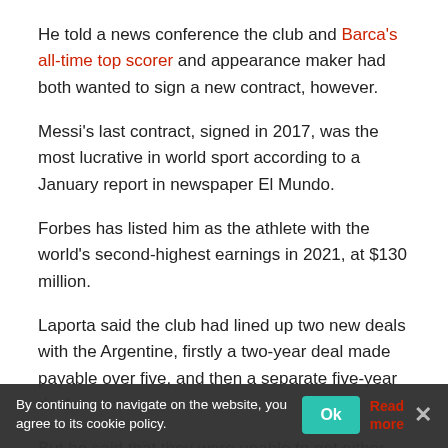He told a news conference the club and Barca's all-time top scorer and appearance maker had both wanted to sign a new contract, however.
Messi's last contract, signed in 2017, was the most lucrative in world sport according to a January report in newspaper El Mundo.
Forbes has listed him as the athlete with the world's second-highest earnings in 2021, at $130 million.
Laporta said the club had lined up two new deals with the Argentine, firstly a two-year deal made payable over five, and then a separate five-year deal.
But he said that they were unable to get either deal done because of La Liga's Financial Fair Play (FFP) rules, and that
By continuing to navigate on the website, you agree to its cookie policy.